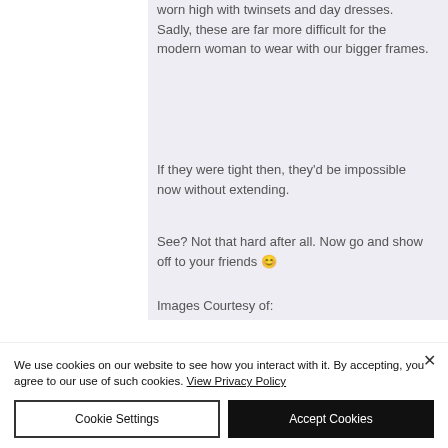worn high with twinsets and day dresses. Sadly, these are far more difficult for the modern woman to wear with our bigger frames.
If they were tight then, they'd be impossible now without extending.
See? Not that hard after all. Now go and show off to your friends 😊
Images Courtesy of:
We use cookies on our website to see how you interact with it. By accepting, you agree to our use of such cookies. View Privacy Policy
Cookie Settings
Accept Cookies